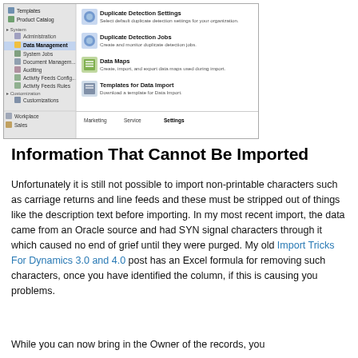[Figure (screenshot): Screenshot of Microsoft Dynamics CRM Settings panel showing Data Management selected in the navigation tree on the left, with options on the right including Duplicate Detection Settings, Duplicate Detection Jobs, Data Maps, and Templates for Data Import. Bottom nav shows Workplace, Sales, Marketing, Service, Settings tabs.]
Information That Cannot Be Imported
Unfortunately it is still not possible to import non-printable characters such as carriage returns and line feeds and these must be stripped out of things like the description text before importing. In my most recent import, the data came from an Oracle source and had SYN signal characters through it which caused no end of grief until they were purged. My old Import Tricks For Dynamics 3.0 and 4.0 post has an Excel formula for removing such characters, once you have identified the column, if this is causing you problems.
While you can now bring in the Owner of the records, you